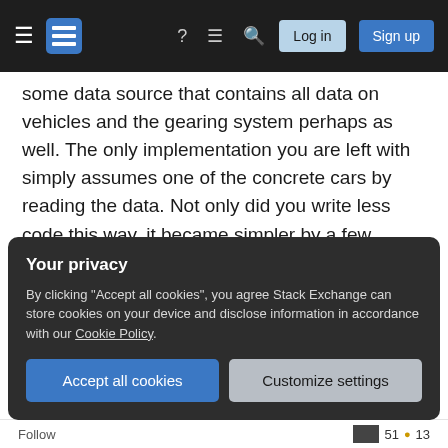Stack Exchange navigation bar with Log in and Sign up buttons
some data source that contains all data on vehicles and the gearing system perhaps as well. The only implementation you are left with simply assumes one of the concrete cars by reading the data. Not only did you write less code this way, it became simpler by a few degrees. Second rework your design so that no Vehicle implementation requires specific methods. 'specific methods' violate LSP (the L of SOLID) and hurt overall maintainability in turn.
Now there is a slight drawback with this solution: it
Your privacy
By clicking "Accept all cookies", you agree Stack Exchange can store cookies on your device and disclose information in accordance with our Cookie Policy.
Follow   51  13